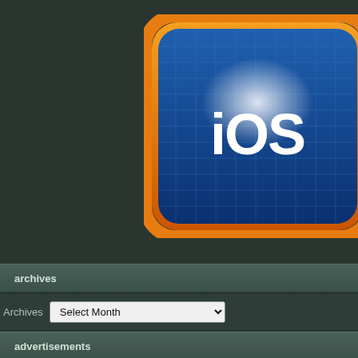[Figure (logo): iOS app icon logo with blue grid background, white iOS text, and orange rounded square border]
archives
Archives  Select Month
advertisements
Real Tennis 2009 HD
Brain Challenge HD
Star Battalion HD
Prince of Persia: Warrior Within HD
War in the Pacific
Hero of Sparta HD
Hero of Sparta 2 HD
NFL 2010 HD
NFL 2011 HD
Blokus HD
Real Football 2010
Shrek Forever After HD
Zombie Infection HD
Secrets of the Vatican HD
Frankenstein – The Dismembered
Chess Classics HD
iPhone
Modern Combat: Sandstorm N.
Clancyâ€™s H.A.W.X.Letâ€™s
Warrior Within
iPad
N.O.V.A. 2 Near Orbit Vanguard
Hustle HDDungeon Hunter HDÂ
HDÂ War in the PacificÂ Hero o
2010Â Shrek Forever After HD